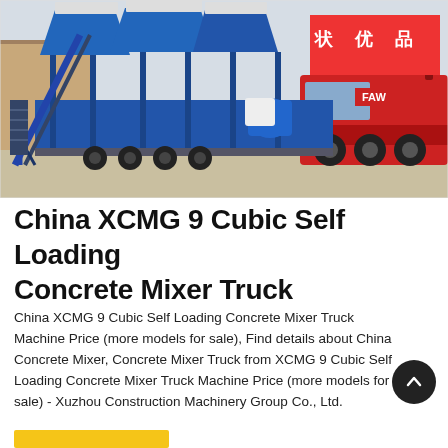[Figure (photo): A blue steel mobile concrete batching plant mounted on a flatbed trailer towed by a red FAW truck, photographed at an industrial yard. The plant has a blue steel frame with hoppers and a conveyor belt.]
China XCMG 9 Cubic Self Loading Concrete Mixer Truck
China XCMG 9 Cubic Self Loading Concrete Mixer Truck Machine Price (more models for sale), Find details about China Concrete Mixer, Concrete Mixer Truck from XCMG 9 Cubic Self Loading Concrete Mixer Truck Machine Price (more models for sale) - Xuzhou Construction Machinery Group Co., Ltd.